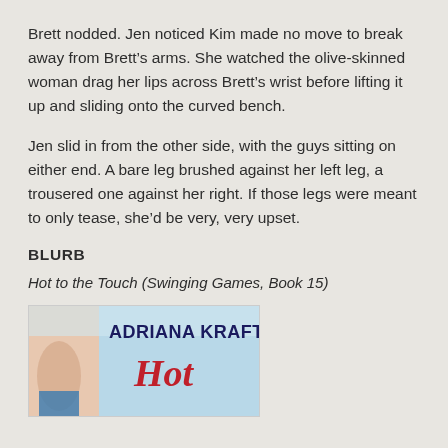Brett nodded. Jen noticed Kim made no move to break away from Brett’s arms. She watched the olive-skinned woman drag her lips across Brett’s wrist before lifting it up and sliding onto the curved bench.
Jen slid in from the other side, with the guys sitting on either end. A bare leg brushed against her left leg, a trousered one against her right. If those legs were meant to only tease, she’d be very, very upset.
BLURB
Hot to the Touch (Swinging Games, Book 15)
[Figure (illustration): Book cover for 'Hot to the Touch' by Adriana Kraft, showing the author name in dark bold text and the word 'Hot' in red stylized font, with a light blue/teal background and partial figure imagery.]